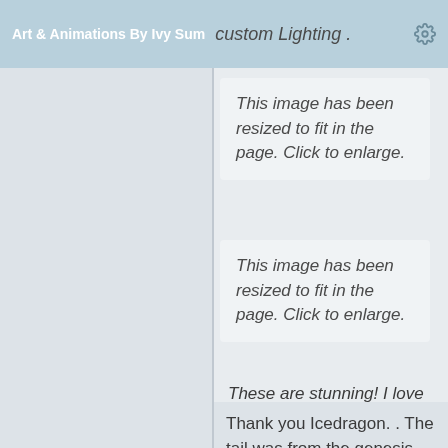Art & Animations By Ivy Sum  custom Lighting .
This image has been resized to fit in the page. Click to enlarge.
This image has been resized to fit in the page. Click to enlarge.
These are stunning!  I love her tail.
Thank you Icedragon. . The tail was from the genesis creature